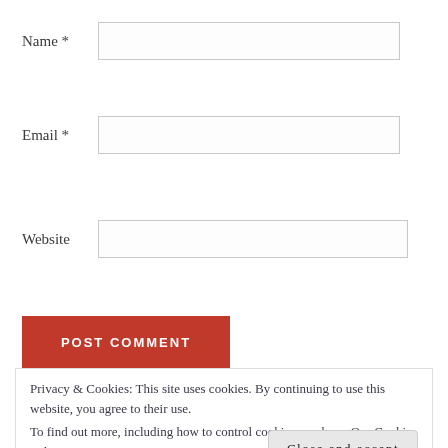Name *
Email *
Website
POST COMMENT
Notify me of new comments via email.
Privacy & Cookies: This site uses cookies. By continuing to use this website, you agree to their use.
To find out more, including how to control cookies, see here: Our Cookie Policy
Close and accept